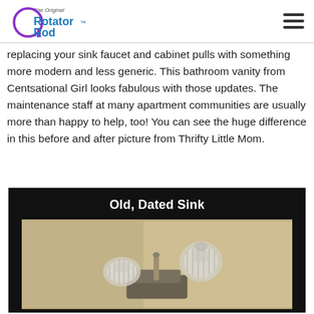The Original Rotator Rod
replacing your sink faucet and cabinet pulls with something more modern and less generic. This bathroom vanity from Centsational Girl looks fabulous with those updates. The maintenance staff at many apartment communities are usually more than happy to help, too! You can see the huge difference in this before and after picture from Thrifty Little Mom.
[Figure (photo): Photo labeled 'Old, Dated Sink' showing old glass crystal bathroom faucet handles on a dated sink, displayed against a black background.]